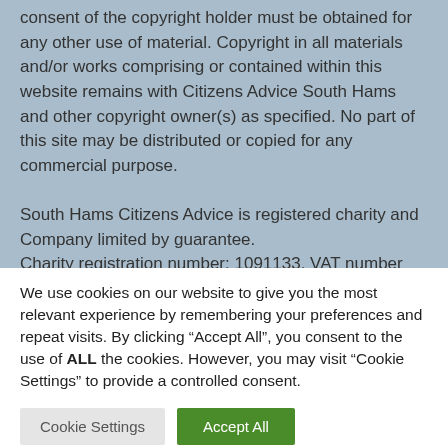consent of the copyright holder must be obtained for any other use of material. Copyright in all materials and/or works comprising or contained within this website remains with Citizens Advice South Hams and other copyright owner(s) as specified. No part of this site may be distributed or copied for any commercial purpose.
South Hams Citizens Advice is registered charity and Company limited by guarantee.
Charity registration number: 1091133, VAT number 871725703, Company limited by guarantee.
Registered number: 4131344 England...
We use cookies on our website to give you the most relevant experience by remembering your preferences and repeat visits. By clicking "Accept All", you consent to the use of ALL the cookies. However, you may visit "Cookie Settings" to provide a controlled consent.